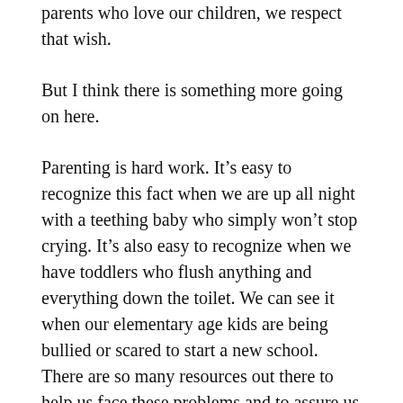parents who love our children, we respect that wish.
But I think there is something more going on here.
Parenting is hard work. It’s easy to recognize this fact when we are up all night with a teething baby who simply won’t stop crying. It’s also easy to recognize when we have toddlers who flush anything and everything down the toilet. We can see it when our elementary age kids are being bullied or scared to start a new school. There are so many resources out there to help us face these problems and to assure us that we are indeed good parents.
When we begin parenting teens, young adults, and adult children those worries don’t go away. Sure, some of them may no longer exist (like not needing to change diaper after diaper or fish your toothbrush out of the toilet) but in their place are other issues… some that are